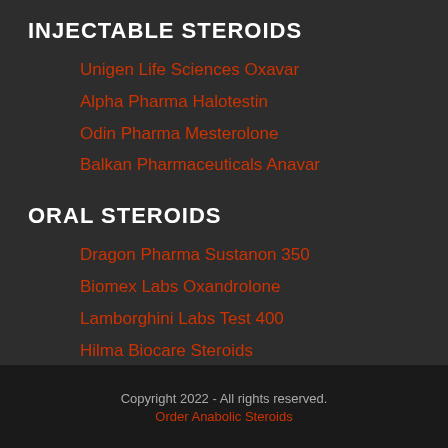INJECTABLE STEROIDS
Unigen Life Sciences Oxavar
Alpha Pharma Halotestin
Odin Pharma Mesterolone
Balkan Pharmaceuticals Anavar
ORAL STEROIDS
Dragon Pharma Sustanon 350
Biomex Labs Oxandrolone
Lamborghini Labs Test 400
Hilma Biocare Steroids
Copyright 2022 - All rights reserved.
Order Anabolic Steroids